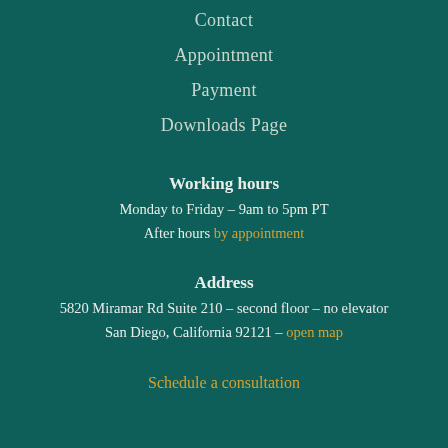Contact
Appointment
Payment
Downloads Page
Working hours
Monday to Friday – 9am to 5pm PT
After hours by appointment
Address
5820 Miramar Rd Suite 210 – second floor – no elevator
San Diego, California 92121 – open map
Schedule a consultation